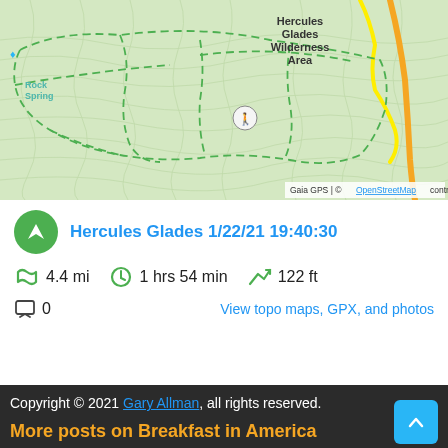[Figure (map): Topographic trail map showing Hercules Glades Wilderness Area with green dashed trail lines, a yellow highlighted route, and a hiker icon. Labels include Rock Spring, Hercules Glades Wilderness Area, Hercules Glades Tower Trailhead with camping/restroom/trailhead icons.]
Gaia GPS | © OpenStreetMap contributors
Hercules Glades 1/22/21 19:40:30
4.4 mi   1 hrs 54 min   122 ft
0   View topo maps, GPX, and photos
Copyright © 2021 Gary Allman, all rights reserved.
More posts on Breakfast in America
[Figure (photo): Person wearing a wide-brimmed hat in a forest setting]
[Figure (photo): Hammock shelter setup in a wooded forest area]